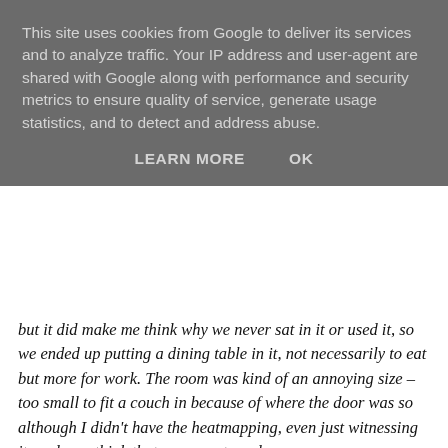This site uses cookies from Google to deliver its services and to analyze traffic. Your IP address and user-agent are shared with Google along with performance and security metrics to ensure quality of service, generate usage statistics, and to detect and address abuse.
LEARN MORE   OK
but it did make me think why we never sat in it or used it, so we ended up putting a dining table in it, not necessarily to eat but more for work. The room was kind of an annoying size – too small to fit a couch in because of where the door was so although I didn't have the heatmapping, even just witnessing it made me think that rooms not used.
Emma – It would detect lots of piles of shit everywhere, I think! Papers building up in various corners… I think very similar to Nick actually. There is one space in our house that is absolutely redundant so I've often thought what could I